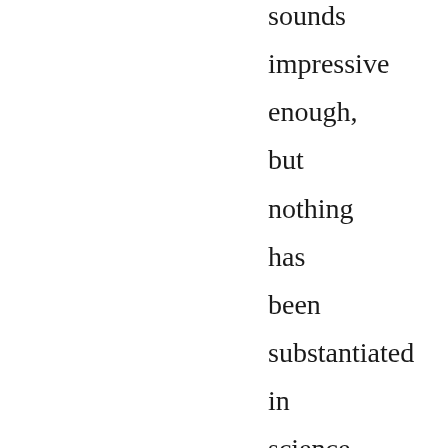sounds impressive enough, but nothing has been substantiated in science on earth yet - but how long have the scientific ideas been